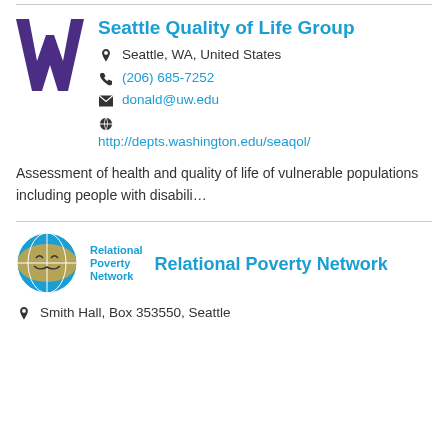[Figure (logo): University of Washington purple W logo]
Seattle Quality of Life Group
Seattle, WA, United States
(206) 685-7252
donald@uw.edu
http://depts.washington.edu/seaqol/
Assessment of health and quality of life of vulnerable populations including people with disabili...
[Figure (logo): Relational Poverty Network logo — circular globe icon with orange and blue, text 'Relational Poverty Network']
Relational Poverty Network
Smith Hall, Box 353550, Seattle